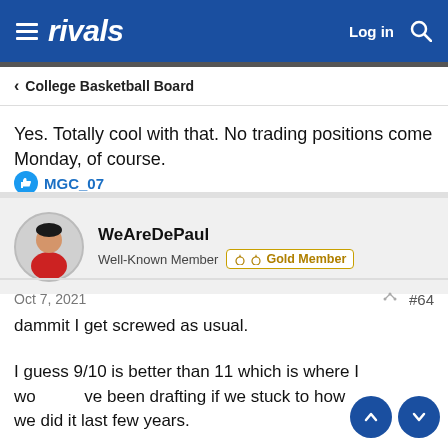rivals  Log in  🔍
< College Basketball Board
Yes. Totally cool with that. No trading positions come Monday, of course.
👍 MGC_07
WeAreDePaul
Well-Known Member  ♡ ♡ Gold Member
Oct 7, 2021  #64
dammit I get screwed as usual.
I guess 9/10 is better than 11 which is where I would've been drafting if we stuck to how we did it last few years.